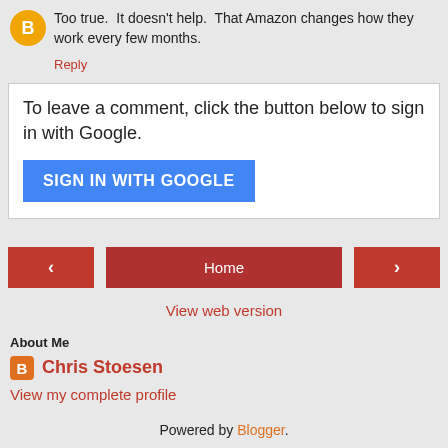Too true. It doesn't help. That Amazon changes how they work every few months.
Reply
To leave a comment, click the button below to sign in with Google.
SIGN IN WITH GOOGLE
‹
Home
›
View web version
About Me
Chris Stoesen
View my complete profile
Powered by Blogger.